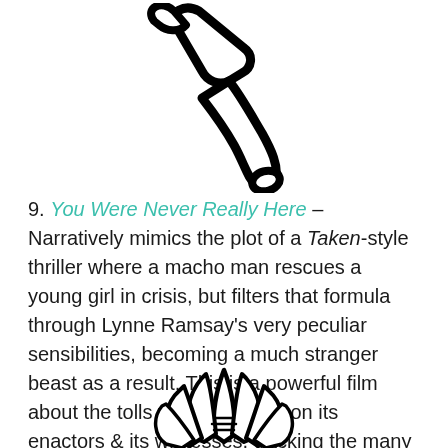[Figure (illustration): A hand-drawn style outline illustration of a hammer (mallet/gavel), tilted diagonally, with thick black outlines on white background.]
9. You Were Never Really Here – Narratively mimics the plot of a Taken-style thriller where a macho man rescues a young girl in crisis, but filters that formula through Lynne Ramsay's very peculiar sensibilities, becoming a much stranger beast as a result. This is a powerful film about the tolls violence takes on its enactors & its witnesses, tracking the many ways it can destroy a soul.
[Figure (illustration): A hand-drawn style outline illustration of a lotus flower, partially visible at the bottom of the page.]